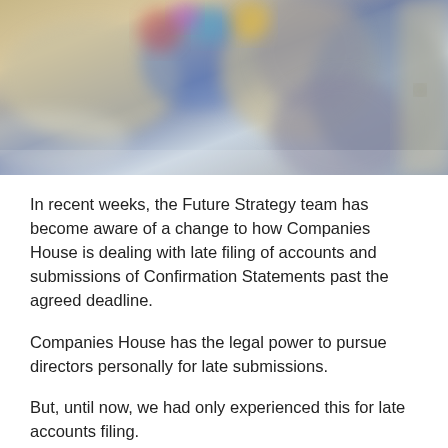[Figure (photo): Blurred photo of a person in a grey outfit, with colorful objects in the background, taken indoors.]
In recent weeks, the Future Strategy team has become aware of a change to how Companies House is dealing with late filing of accounts and submissions of Confirmation Statements past the agreed deadline.
Companies House has the legal power to pursue directors personally for late submissions.
But, until now, we had only experienced this for late accounts filing.
Recent reforms have led Companies House to review all of its current cases. As a result, they are becoming